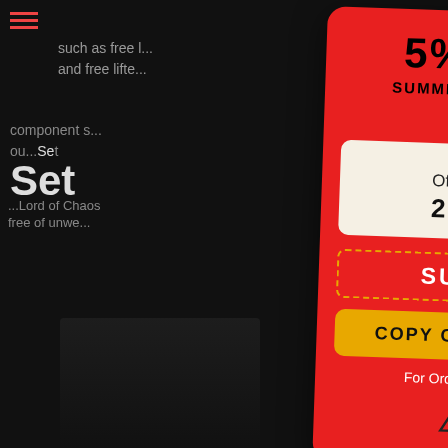[Figure (screenshot): Dark website background with partial text and navigation elements including hamburger menu and search icon]
[Figure (infographic): Red popup promotional card showing 5% OFF Summer Flash Sale with hourglass icon, countdown timer 23:59:54, coupon code SUMMER5, copy coupon code button, 'For Orders $1200 or more' text, and CLX logo]